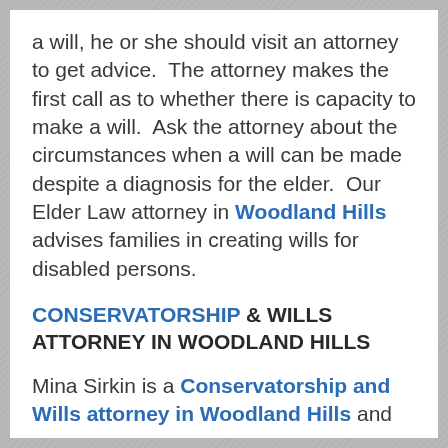a will, he or she should visit an attorney to get advice.  The attorney makes the first call as to whether there is capacity to make a will.  Ask the attorney about the circumstances when a will can be made despite a diagnosis for the elder.  Our Elder Law attorney in Woodland Hills advises families in creating wills for disabled persons.
CONSERVATORSHIP & WILLS ATTORNEY IN WOODLAND HILLS
Mina Sirkin is a Conservatorship and Wills attorney in Woodland Hills and